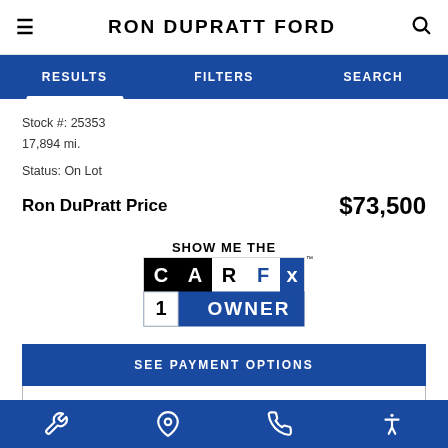RON DUPRATT FORD
RESULTS  FILTERS  SEARCH
Stock #: 25353
17,894 mi.

Status: On Lot
Ron DuPratt Price  $73,500
[Figure (logo): Show Me The CARFAX 1 Owner badge logo]
SEE PAYMENT OPTIONS
BUY FROM HOME
Bottom nav icons: wrench, location pin, phone, accessibility